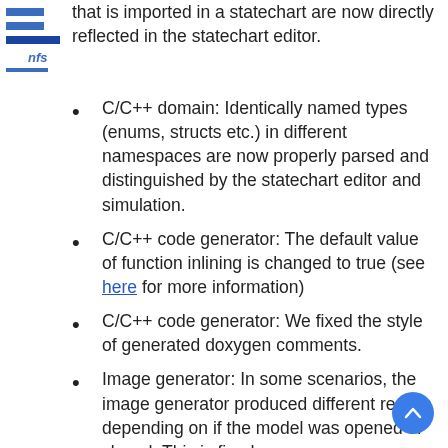nfs
that is imported in a statechart are now directly reflected in the statechart editor.
C/C++ domain: Identically named types (enums, structs etc.) in different namespaces are now properly parsed and distinguished by the statechart editor and simulation.
C/C++ code generator: The default value of function inlining is changed to true (see here for more information)
C/C++ code generator: We fixed the style of generated doxygen comments.
Image generator: In some scenarios, the image generator produced different results depending on if the model was opened or closed. This is fixed now.